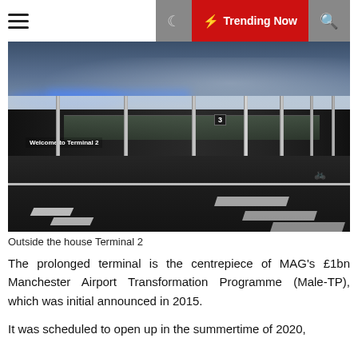Trending Now
[Figure (photo): Exterior view of Manchester Airport Terminal 2 at dusk, showing the illuminated canopy with blue lighting, terminal facade reading 'Welcome to Terminal 2', pillar structures, and an empty road/drop-off area in the foreground.]
Outside the house Terminal 2
The prolonged terminal is the centrepiece of MAG's £1bn Manchester Airport Transformation Programme (Male-TP), which was initial announced in 2015.
It was scheduled to open up in the summertime of 2020,